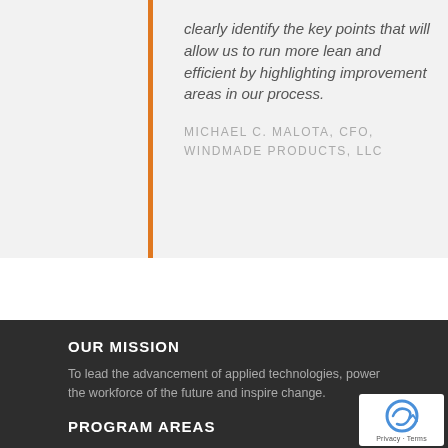clearly identify the key points that will allow us to run more lean and efficient by highlighting improvement areas in our process.
MICHAEL C. MALOTA, CFO, WINDMADE PRODUCTS, LLC
OUR MISSION
To lead the advancement of applied technologies, power the workforce of the future and inspire change.
PROGRAM AREAS